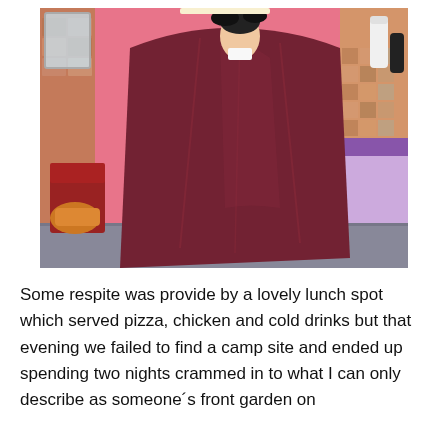[Figure (photo): A person sitting in a barber/salon chair wearing a dark maroon/burgundy barber cape, viewed from the side. The salon has pink walls, a tiled section, and various salon products visible. The barber's hands are visible at the top of the person's head.]
Some respite was provide by a lovely lunch spot which served pizza, chicken and cold drinks but that evening we failed to find a camp site and ended up spending two nights crammed in to what I can only describe as someone´s front garden on